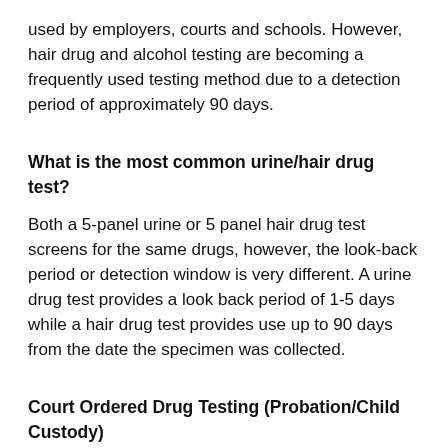used by employers, courts and schools. However, hair drug and alcohol testing are becoming a frequently used testing method due to a detection period of approximately 90 days.
What is the most common urine/hair drug test?
Both a 5-panel urine or 5 panel hair drug test screens for the same drugs, however, the look-back period or detection window is very different. A urine drug test provides a look back period of 1-5 days while a hair drug test provides use up to 90 days from the date the specimen was collected.
Court Ordered Drug Testing (Probation/Child Custody)
Our local drug testing Ponte Vedra Beach, FL centers provide drug and alcohol tests that are utilized for a wide variety of court ordered proceedings, including probation